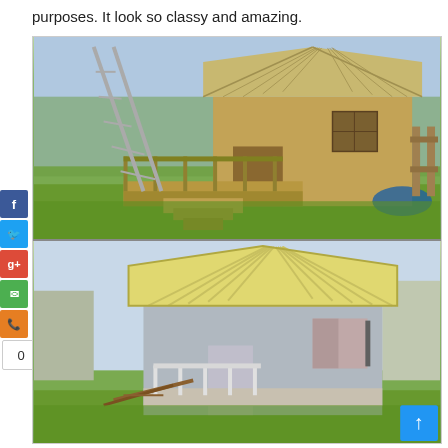purposes. It look so classy and amazing.
[Figure (photo): Wooden pallet playhouse with a porch, railing, steps, and a slide/ladder leaning against the side. Set on a green lawn with trees and a wooden fence in the background.]
[Figure (photo): Painted grey/white wooden playhouse with a yellow-striped roof, porch railing, and a small window with shutters. Set on a green lawn.]